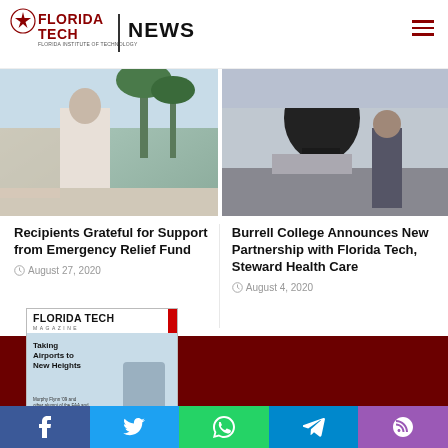[Figure (logo): Florida Tech News logo with star graphic and hamburger menu icon]
[Figure (photo): Left news photo: person in white clothing outdoors with palm trees]
[Figure (photo): Right news photo: people near dark sculpture indoors]
Recipients Grateful for Support from Emergency Relief Fund
August 27, 2020
Burrell College Announces New Partnership with Florida Tech, Steward Health Care
August 4, 2020
[Figure (photo): Florida Tech Magazine cover - Taking Airports to New Heights]
[Figure (infographic): Social sharing bar with Facebook, Twitter, WhatsApp, Telegram, RSS icons]